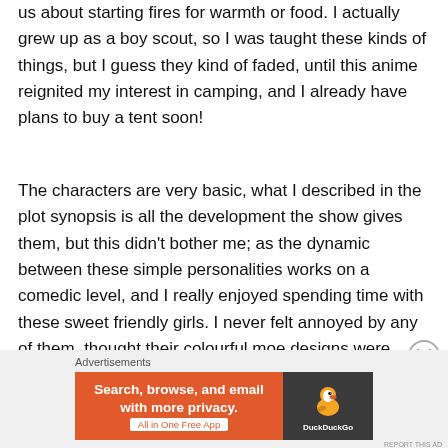us about starting fires for warmth or food. I actually grew up as a boy scout, so I was taught these kinds of things, but I guess they kind of faded, until this anime reignited my interest in camping, and I already have plans to buy a tent soon!
The characters are very basic, what I described in the plot synopsis is all the development the show gives them, but this didn't bother me; as the dynamic between these simple personalities works on a comedic level, and I really enjoyed spending time with these sweet friendly girls. I never felt annoyed by any of them, thought their colourful moe designs were cute, loved watching them having fun, and wanted to keep seeing their camping trips together.
[Figure (other): DuckDuckGo advertisement banner: orange left section with text 'Search, browse, and email with more privacy. All in One Free App', dark right section with DuckDuckGo duck logo and brand name.]